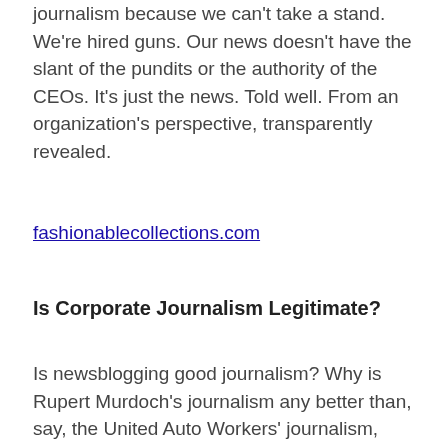journalism because we can't take a stand. We're hired guns. Our news doesn't have the slant of the pundits or the authority of the CEOs. It's just the news. Told well. From an organization's perspective, transparently revealed.
fashionablecollections.com
Is Corporate Journalism Legitimate?
Is newsblogging good journalism? Why is Rupert Murdoch's journalism any better than, say, the United Auto Workers' journalism, when it comes to covering the auto industry? Both publishers have an agenda. Ratings is an agenda. The question is whether or not the agenda is revealed and whether or not the news is well reported. After seeing what passes for journalism these days — video news releases provided by corporations who pay to have them inserted as stories in newscasts, sometimes even without disclosure — newsblogging adheres to a higher